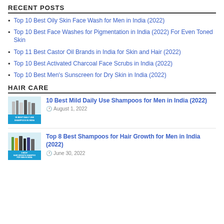RECENT POSTS
Top 10 Best Oily Skin Face Wash for Men in India (2022)
Top 10 Best Face Washes for Pigmentation in India (2022) For Even Toned Skin
Top 11 Best Castor Oil Brands in India for Skin and Hair (2022)
Top 10 Best Activated Charcoal Face Scrubs in India (2022)
Top 10 Best Men's Sunscreen for Dry Skin in India (2022)
HAIR CARE
[Figure (photo): Thumbnail image of shampoo bottles with label '10 BEST DAILY USE SHAMPOOS IN INDIA']
10 Best Mild Daily Use Shampoos for Men in India (2022)
August 1, 2022
[Figure (photo): Thumbnail image of shampoo bottles with label '8 BEST HAIR GROWTH SHAMPOO FOR MEN IN INDIA']
Top 8 Best Shampoos for Hair Growth for Men in India (2022)
June 30, 2022